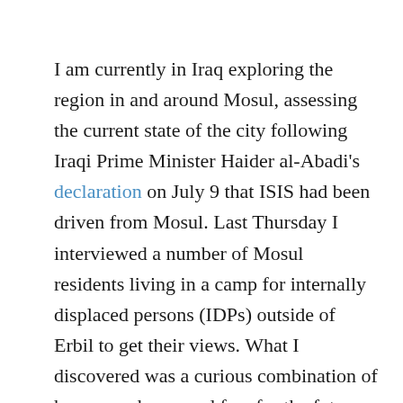I am currently in Iraq exploring the region in and around Mosul, assessing the current state of the city following Iraqi Prime Minister Haider al-Abadi's declaration on July 9 that ISIS had been driven from Mosul. Last Thursday I interviewed a number of Mosul residents living in a camp for internally displaced persons (IDPs) outside of Erbil to get their views. What I discovered was a curious combination of hope, numbness and fear for the future. If the Iraqi government isn't careful, the end of the war against ISIS in Mosul may simply herald a transition to the next phase of conflict.